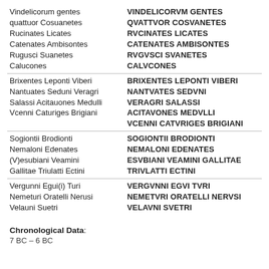| Latin (mixed case) | Latin (uppercase/inscriptional) |
| --- | --- |
| Vindelicorum gentes quattuor Cosuanetes Rucinates Licates Catenates Ambisontes Rugusci Suanetes Calucones | VINDELICORVM GENTES QVATTVOR COSVANETES RVCINATES LICATES CATENATES AMBISONTES RVGVSCI SVANETES CALVCONES |
| Brixentes Leponti Viberi Nantuates Seduni Veragri Salassi Acitauones Medulli Vcenni Caturiges Brigiani | BRIXENTES LEPONTI VIBERI NANTVATES SEDVNI VERAGRI SALASSI ACITAVONES MEDVLLI VCENNI CATVRIGES BRIGIANI |
| Sogiontii Brodionti Nemaloni Edenates (V)esubiani Veamini Gallitae Triulatti Ectini | SOGIONTII BRODIONTI NEMALONI EDENATES ESVBIANI VEAMINI GALLITAE TRIVLATTI ECTINI |
| Vergunni Egui(i) Turi Nemeturi Oratelli Nerusi Velauni Suetri | VERGVNNI EGVI TVRI NEMETVRI ORATELLI NERVSI VELAVNI SVETRI |
Chronological Data:
7 BC – 6 BC